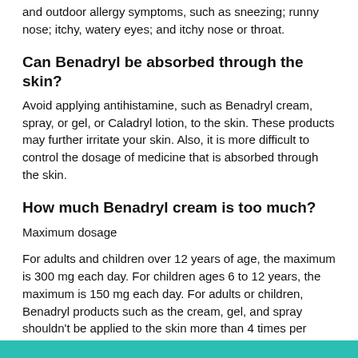and outdoor allergy symptoms, such as sneezing; runny nose; itchy, watery eyes; and itchy nose or throat.
Can Benadryl be absorbed through the skin?
Avoid applying antihistamine, such as Benadryl cream, spray, or gel, or Caladryl lotion, to the skin. These products may further irritate your skin. Also, it is more difficult to control the dosage of medicine that is absorbed through the skin.
How much Benadryl cream is too much?
Maximum dosage
For adults and children over 12 years of age, the maximum is 300 mg each day. For children ages 6 to 12 years, the maximum is 150 mg each day. For adults or children, Benadryl products such as the cream, gel, and spray shouldn’t be applied to the skin more than 4 times per day.17 мая 2019 г.
[Figure (other): Teal/green decorative bar at bottom of page]